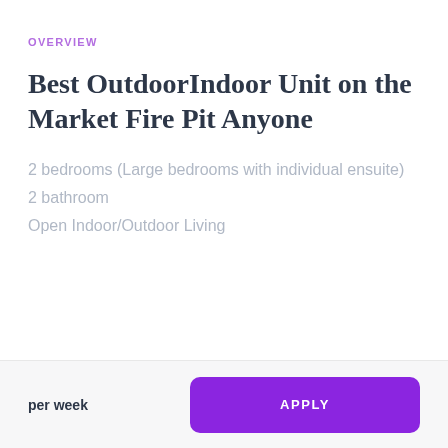OVERVIEW
Best OutdoorIndoor Unit on the Market Fire Pit Anyone
2 bedrooms (Large bedrooms with individual ensuite)
2 bathroom
Open Indoor/Outdoor Living
per week
APPLY